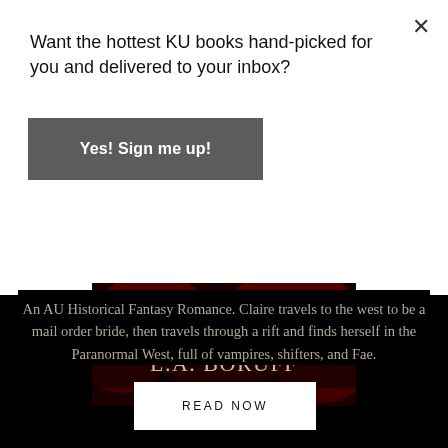Want the hottest KU books hand-picked for you and delivered to your inbox?
Yes! Sign me up!
[Figure (illustration): Book cover banner showing 'USA TODAY BESTSELLING AUTHORS KERRY ADRIENNE L.A. BORUFF' text on a dark red floral background.]
An AU Historical Fantasy Romance. Claire travels to the west to be a mail order bride, then travels through a rift and finds herself in the Paranormal West, full of vampires, shifters, and Fae.
READ NOW